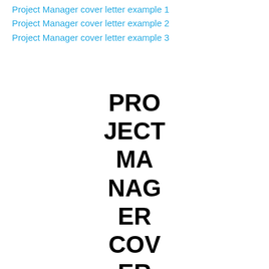Project Manager cover letter example 1
Project Manager cover letter example 2
Project Manager cover letter example 3
PROJECT MANAGER COVER LETTER EXA…